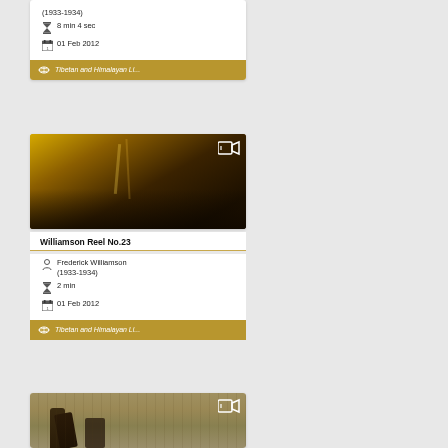(1933-1934)
8 min 4 sec
01 Feb 2012
Tibetan and Himalayan Li...
[Figure (photo): Sepia/golden-toned landscape photograph with trees in background, warm golden glow]
Williamson Reel No.23
Frederick Williamson (1933-1934)
2 min
01 Feb 2012
Tibetan and Himalayan Li...
[Figure (photo): Sepia-toned photograph of people in a field, two figures visible, one bent over]